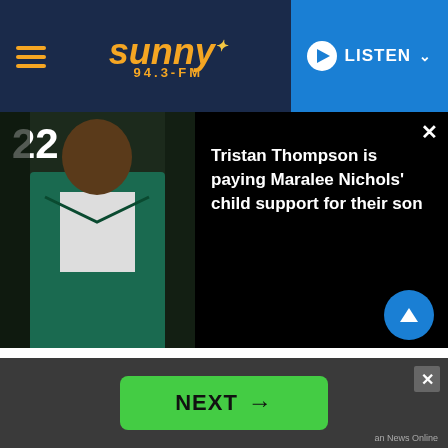sunny 94.3-FM | LISTEN
[Figure (screenshot): Video thumbnail showing a man wearing a teal/green jacket with number 22 visible, overlaid on black background with article title text]
Tristan Thompson is paying Maralee Nichols' child support for their son
Kardashian is at her home gym when she found out about Tristan's paternity scandal with the fitness model when she saw his deposition. Trying to get a hold of Khloe in the early morning hours, Kim told the rest of the family until Khloe called her back and gave her the news.
NEXT →